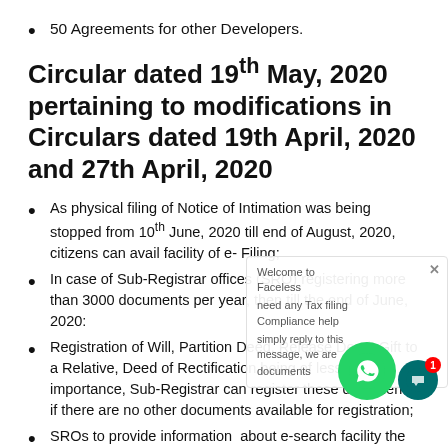50 Agreements for other Developers.
Circular dated 19th May, 2020 pertaining to modifications in Circulars dated 19th April, 2020 and 27th April, 2020
As physical filing of Notice of Intimation was being stopped from 10th June, 2020 till end of August, 2020, citizens can avail facility of e- Filing;
In case of Sub-Registrar offices (SRO) registering more than 3000 documents per year, then till the end of June, 2020:
Registration of Will, Partition Deed, Release Deed, Gift to a Relative, Deed of Rectification being of less importance, Sub-Registrar can register these documents if there are no other documents available for registration;
SROs to provide information about e-search facility the citizens and encourage them to use this option